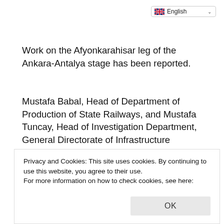[Figure (other): Language selector dropdown showing English with UK flag and chevron]
Work on the Afyonkarahisar leg of the Ankara-Antalya stage has been reported.
Mustafa Babal, Head of Department of Production of State Railways, and Mustafa Tuncay, Head of Investigation Department, General Directorate of Infrastructure Investment, attended the meeting organized by Afyonkarahisar Governor İrfan Balkanlıoğlu and informed the participants about the latest status of the project.
Privacy and Cookies: This site uses cookies. By continuing to use this website, you agree to their use.
For more information on how to check cookies, see here: Cookie Policy
to the development of thermal tourism